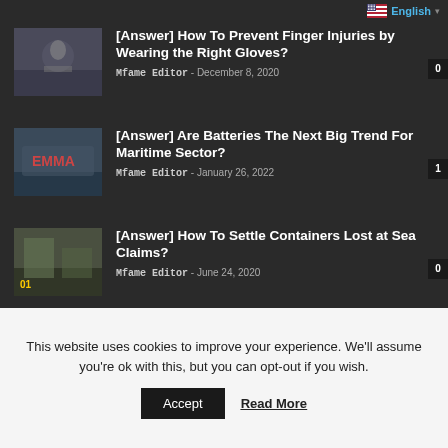English
[Answer] How To Prevent Finger Injuries by Wearing the Right Gloves? — Mfame Editor - December 8, 2020 — 0
[Answer] Are Batteries The Next Big Trend For Maritime Sector? — Mfame Editor - January 26, 2022 — 1
[Answer] How To Settle Containers Lost at Sea Claims? — Mfame Editor - June 24, 2020 — 0
This website uses cookies to improve your experience. We'll assume you're ok with this, but you can opt-out if you wish.